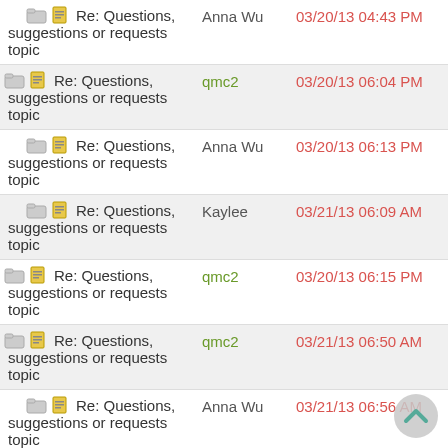Re: Questions, suggestions or requests topic — Anna Wu — 03/20/13 04:43 PM
Re: Questions, suggestions or requests topic — qmc2 — 03/20/13 06:04 PM
Re: Questions, suggestions or requests topic — Anna Wu — 03/20/13 06:13 PM
Re: Questions, suggestions or requests topic — Kaylee — 03/21/13 06:09 AM
Re: Questions, suggestions or requests topic — qmc2 — 03/20/13 06:15 PM
Re: Questions, suggestions or requests topic — qmc2 — 03/21/13 06:50 AM
Re: Questions, suggestions or requests topic — Anna Wu — 03/21/13 06:56 AM
Re: Questions, suggestions or requests topic — ASH — 03/23/13 11:48 AM
Re: Questions, suggestions or requests topic — ASH — 03/23/13 12:42 PM
Re: Questions, — qmc2 — 03/23/13 11:56 AM